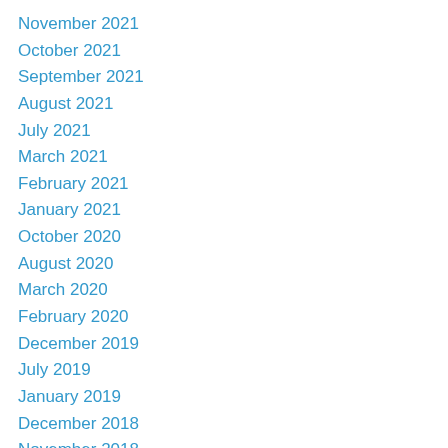November 2021
October 2021
September 2021
August 2021
July 2021
March 2021
February 2021
January 2021
October 2020
August 2020
March 2020
February 2020
December 2019
July 2019
January 2019
December 2018
November 2018
October 2018
July 2018
November 2017